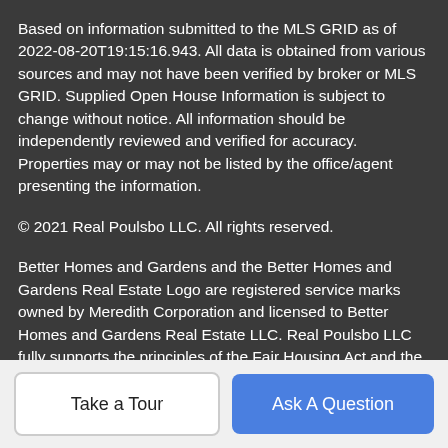Based on information submitted to the MLS GRID as of 2022-08-20T19:15:16.943. All data is obtained from various sources and may not have been verified by broker or MLS GRID. Supplied Open House Information is subject to change without notice. All information should be independently reviewed and verified for accuracy. Properties may or may not be listed by the office/agent presenting the information.
© 2021 Real Poulsbo LLC. All rights reserved.
Better Homes and Gardens and the Better Homes and Gardens Real Estate Logo are registered service marks owned by Meredith Corporation and licensed to Better Homes and Gardens Real Estate LLC. Real Poulsbo LLC fully supports the principles of the Fair Housing Act and the Equal Opportunity Act. Each franchise is independently owned and operated. Any services or products provided by independently owned and operated franchisees are not provided by, affiliated with or related to Better Homes and